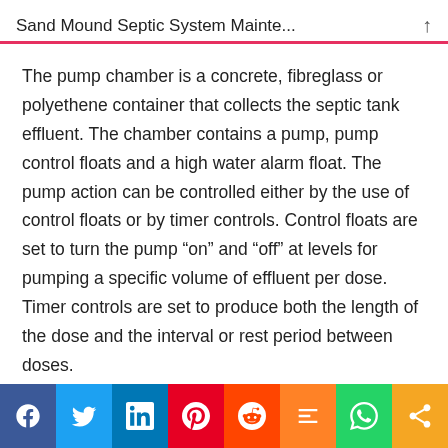Sand Mound Septic System Mainte...
The pump chamber is a concrete, fibreglass or polyethene container that collects the septic tank effluent. The chamber contains a pump, pump control floats and a high water alarm float. The pump action can be controlled either by the use of control floats or by timer controls. Control floats are set to turn the pump “on” and “off” at levels for pumping a specific volume of effluent per dose. Timer controls are set to produce both the length of the dose and the interval or rest period between doses.
Social share bar: Facebook, Twitter, LinkedIn, Pinterest, Reddit, Mix, WhatsApp, Share